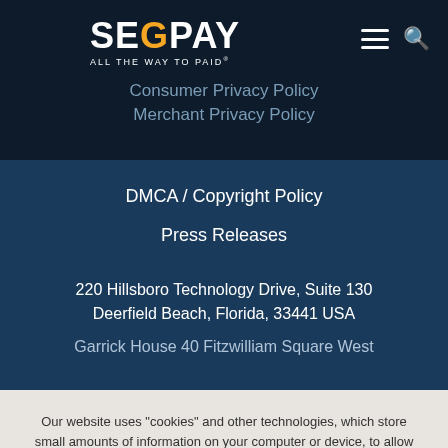[Figure (logo): Segpay logo with orange G, white text, tagline ALL THE WAY TO PAID]
Consumer Privacy Policy
Merchant Privacy Policy
DMCA / Copyright Policy
Press Releases
220 Hillsboro Technology Drive, Suite 130
Deerfield Beach, Florida, 33441 USA
Garrick House 40 Fitzwilliam Square West
Our website uses "cookies" and other technologies, which store small amounts of information on your computer or device, to allow certain information from your web browser to be collected and improve your experience. By using this website, you accept the terms of our privacy policy and cookie policy.
I Accept